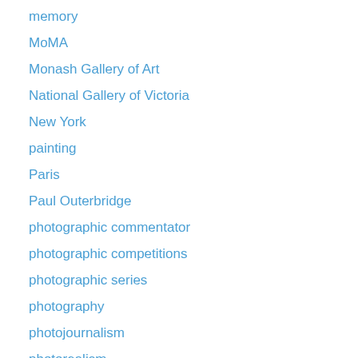memory
MoMA
Monash Gallery of Art
National Gallery of Victoria
New York
painting
Paris
Paul Outerbridge
photographic commentator
photographic competitions
photographic series
photography
photojournalism
photorealism
pictorialism
Polaroid photography
portrait
postcards
printmaking
psychological